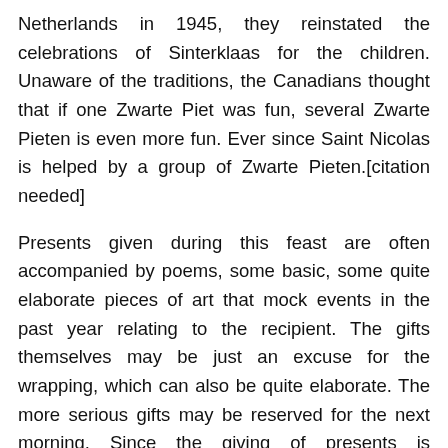Netherlands in 1945, they reinstated the celebrations of Sinterklaas for the children. Unaware of the traditions, the Canadians thought that if one Zwarte Piet was fun, several Zwarte Pieten is even more fun. Ever since Saint Nicolas is helped by a group of Zwarte Pieten.[citation needed]
Presents given during this feast are often accompanied by poems, some basic, some quite elaborate pieces of art that mock events in the past year relating to the recipient. The gifts themselves may be just an excuse for the wrapping, which can also be quite elaborate. The more serious gifts may be reserved for the next morning. Since the giving of presents is Sinterklaas's job, presents are traditionally not given at Christmas in the Netherlands, but commercialism is starting to tap into this market.
The Zwarte Pieten have roughly the same role for the